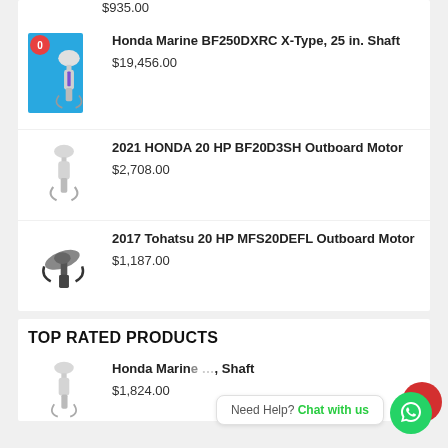$935.00
Honda Marine BF250DXRC X-Type, 25 in. Shaft
$19,456.00
2021 HONDA 20 HP BF20D3SH Outboard Motor
$2,708.00
2017 Tohatsu 20 HP MFS20DEFL Outboard Motor
$1,187.00
TOP RATED PRODUCTS
Honda Marine [truncated], Shaft
$1,824.00
Need Help? Chat with us